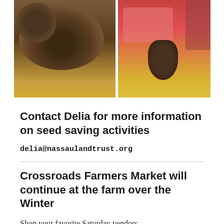[Figure (photo): Two side-by-side photos showing seed saving activities: left photo shows a large mound of dried plant material/seeds on a yellow surface; right photo shows a child in a pink shirt at a table with seed saving materials.]
Contact Delia for more information on seed saving activities
delia@nassaulandtrust.org
Crossroads Farmers Market will continue at the farm over the Winter
Shop your favorite Saturday vendors
We keep it fresh, we support our local producers and will rotate new vendors throughout the